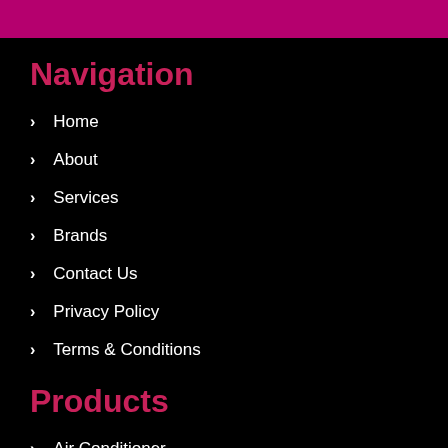Navigation
Home
About
Services
Brands
Contact Us
Privacy Policy
Terms & Conditions
Products
Air Conditioner
TV